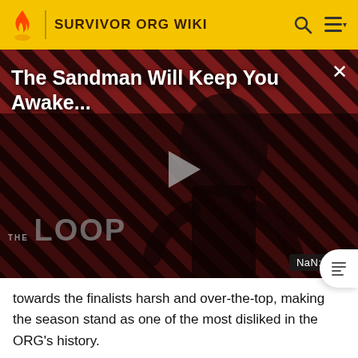SURVIVOR ORG WIKI
[Figure (screenshot): Video player thumbnail showing 'The Sandman Will Keep You Awake...' with a dark figure on a red and black striped background, THE LOOP watermark, play button, and NaN:NaN timestamp]
towards the finalists harsh and over-the-top, making the season stand as one of the most disliked in the ORG's history.
39 days, 20 people, 1 SURVIVOR!